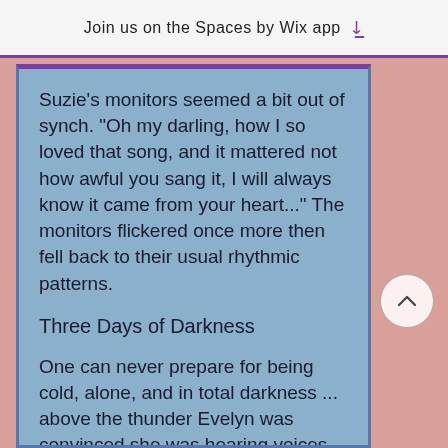Join us on the Spaces by Wix app
Suzie's monitors seemed a bit out of synch. "Oh my darling, how I so loved that song, and it mattered not how awful you sang it, I will always know it came from your heart..." The monitors flickered once more then fell back to their usual rhythmic patterns.
Three Days of Darkness
One can never prepare for being cold, alone, and in total darkness ... above the thunder Evelyn was convinced she was hearing voices ... "Momma?" Evelyn jerked her head upright ... a familiar voice was calling to her ... holding her